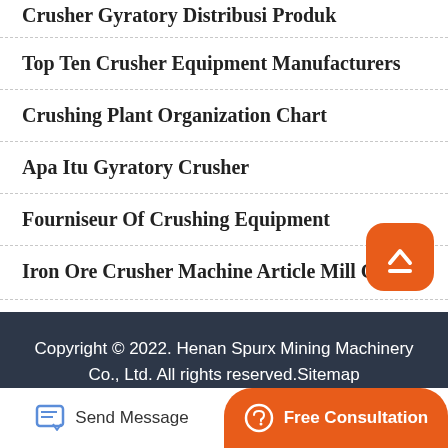Crusher Gyratory Distribusi Produk
Top Ten Crusher Equipment Manufacturers
Crushing Plant Organization Chart
Apa Itu Gyratory Crusher
Fourniseur Of Crushing Equipment
Iron Ore Crusher Machine Article Mill Gold
Copyright © 2022. Henan Spurx Mining Machinery Co., Ltd. All rights reserved.Sitemap
Send Message
Free Consultation